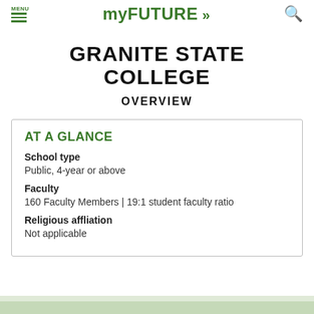MENU | myFUTURE »
GRANITE STATE COLLEGE
OVERVIEW
AT A GLANCE
School type
Public, 4-year or above
Faculty
160 Faculty Members | 19:1 student faculty ratio
Religious affliation
Not applicable